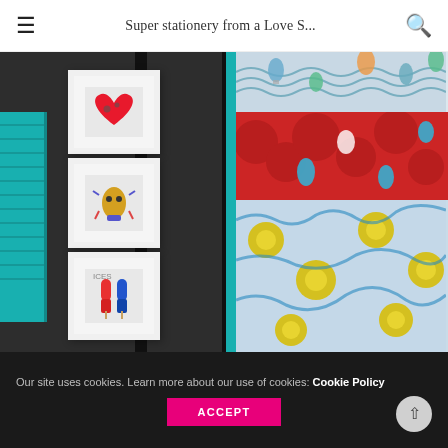Super stationery from a Love S...
[Figure (photo): Two side-by-side photos. Left: dark wall with a teal/turquoise louvered shutter and three small white-framed art prints (heart, monster, popsicles). Right: colorful patterned paper/fabric closeup with hot air balloon print on top, red floral clouds in middle, and blue/yellow floral print on bottom, with teal border on left edge.]
Our site uses cookies. Learn more about our use of cookies: Cookie Policy
ACCEPT